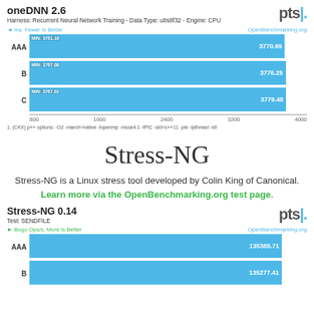oneDNN 2.6
Harness: Recurrent Neural Network Training - Data Type: u8s8f32 - Engine: CPU
[Figure (bar-chart): oneDNN 2.6]
1. (CKX) p++ options: -O2 -march=native -fopenmp -msse4.1 -fPIC -std=c++11 -pie -lpthread -ldl
Stress-NG
Stress-NG is a Linux stress tool developed by Colin King of Canonical. Learn more via the OpenBenchmarking.org test page.
Stress-NG 0.14
Test: SENDFILE
[Figure (bar-chart): Stress-NG 0.14]